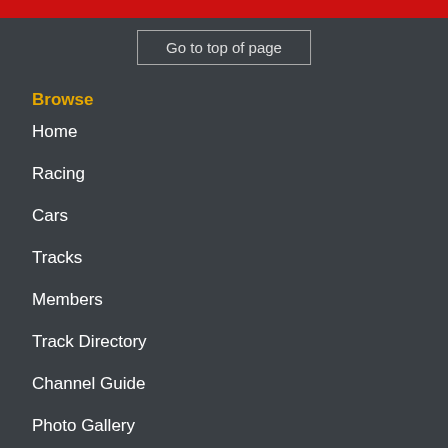Go to top of page
Browse
Home
Racing
Cars
Tracks
Members
Track Directory
Channel Guide
Photo Gallery
Archive
Shop